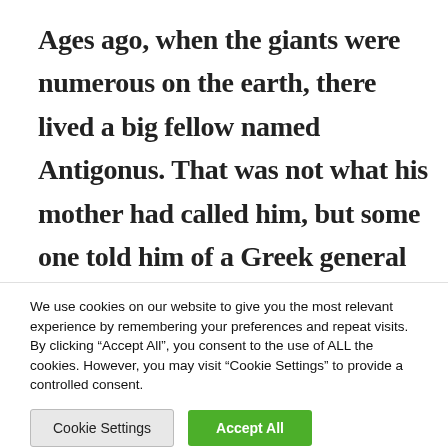Ages ago, when the giants were numerous on the earth, there lived a big fellow named Antigonus. That was not what his mother had called him, but some one told him of a Greek general of that name; so he took this for his own. He was rough and cruel. His castle was on
We use cookies on our website to give you the most relevant experience by remembering your preferences and repeat visits. By clicking “Accept All”, you consent to the use of ALL the cookies. However, you may visit “Cookie Settings” to provide a controlled consent.
Cookie Settings | Accept All